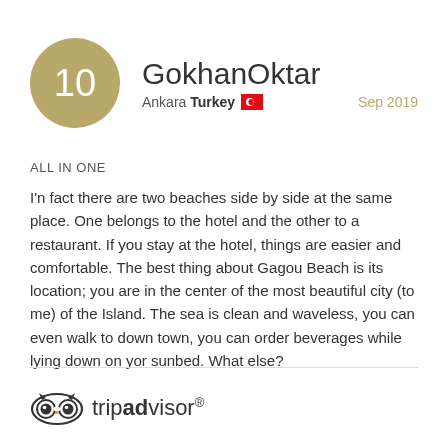[Figure (illustration): Gold circular avatar with number 10 inside]
GokhanOktar
Ankara Turkey  Sep 2019
ALL IN ONE
I'n fact there are two beaches side by side at the same place. One belongs to the hotel and the other to a restaurant. If you stay at the hotel, things are easier and comfortable. The best thing about Gagou Beach is its location; you are in the center of the most beautiful city (to me) of the Island. The sea is clean and waveless, you can even walk to down town, you can order beverages while lying down on yor sunbed. What else?
[Figure (logo): TripAdvisor logo with owl icon and tripadvisor wordmark]